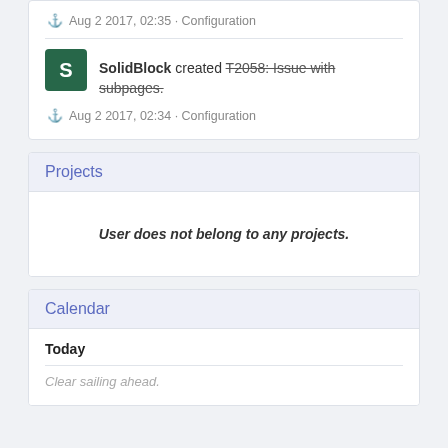Aug 2 2017, 02:35 · Configuration
SolidBlock created T2058: Issue with subpages.
Aug 2 2017, 02:34 · Configuration
Projects
User does not belong to any projects.
Calendar
Today
Clear sailing ahead.